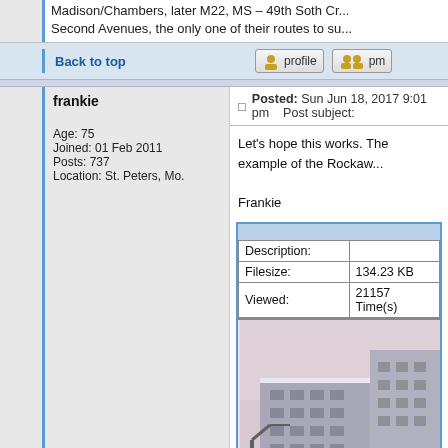Madison/Chambers, later M22, MS - 49th Soth Cro... Second Avenues, the only one of their routes to su...
Back to top
frankie
Age: 75
Joined: 01 Feb 2011
Posts: 737
Location: St. Peters, Mo.
Posted: Sun Jun 18, 2017 9:01 pm   Post subject:
Let's hope this works. The example of the Rockaw...

Frankie
| Description: |  |
| --- | --- |
| Filesize: | 134.23 KB |
| Viewed: | 21157 Time(s) |
[Figure (photo): Partial view of a city building with snow-covered rooftop against a pinkish sky]